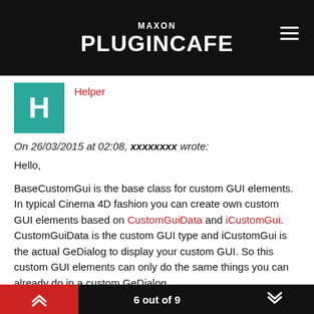MAXON PLUGINCAFE
Helper
On 26/03/2015 at 02:08, xxxxxxxx wrote:
Hello,

BaseCustomGui is the base class for custom GUI elements. In typical Cinema 4D fashion you can create own custom GUI elements based on CustomGuiData and iCustomGui. CustomGuiData is the custom GUI type and iCustomGui is the actual GeDialog to display your custom GUI. So this custom GUI elements can only do the same things you can already do in a custom GeDialog.

Best wishes,
Sebastian
6 out of 9